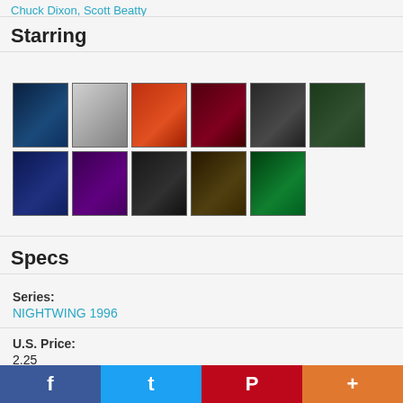Chuck Dixon, Scott Beatty
Starring
[Figure (illustration): Grid of 11 comic character portrait thumbnails]
Specs
Series:
NIGHTWING 1996
U.S. Price:
2.25
On Sale Date:
[Figure (infographic): Social share bar with Facebook, Twitter, Pinterest, and More buttons]